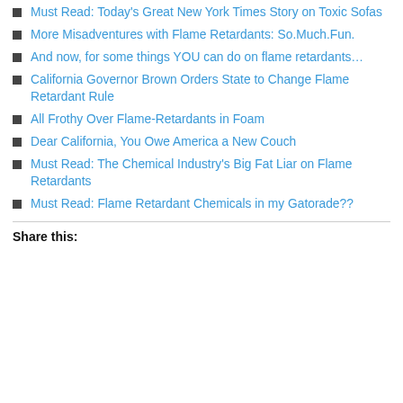Must Read: Today's Great New York Times Story on Toxic Sofas
More Misadventures with Flame Retardants: So.Much.Fun.
And now, for some things YOU can do on flame retardants…
California Governor Brown Orders State to Change Flame Retardant Rule
All Frothy Over Flame-Retardants in Foam
Dear California, You Owe America a New Couch
Must Read: The Chemical Industry's Big Fat Liar on Flame Retardants
Must Read: Flame Retardant Chemicals in my Gatorade??
Share this: